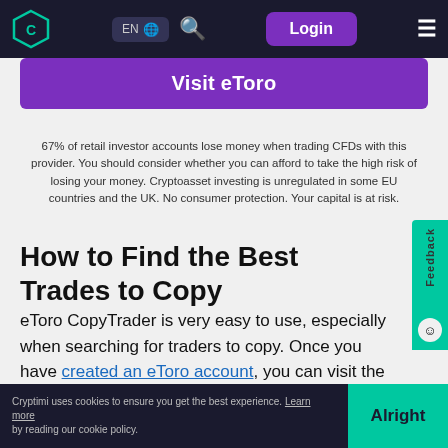EN  Login
Visit eToro
67% of retail investor accounts lose money when trading CFDs with this provider. You should consider whether you can afford to take the high risk of losing your money. Cryptoasset investing is unregulated in some EU countries and the UK. No consumer protection. Your capital is at risk.
How to Find the Best Trades to Copy
eToro CopyTrader is very easy to use, especially when searching for traders to copy. Once you have created an eToro account, you can visit the 'Copy People' section located on the left-hand side of your dashboard. You will be presented with hundreds of possible traders to copy, which can be quite overwhelming. Fortunately, eToro offers a variety of filter options to help you select traders which closely match your
Cryptimi uses cookies to ensure you get the best experience. Learn more by reading our cookie policy.   Alright